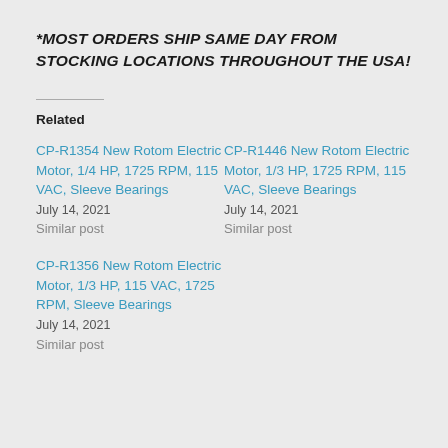*MOST ORDERS SHIP SAME DAY FROM STOCKING LOCATIONS THROUGHOUT THE USA!
Related
CP-R1354 New Rotom Electric Motor, 1/4 HP, 1725 RPM, 115 VAC, Sleeve Bearings
July 14, 2021
Similar post
CP-R1446 New Rotom Electric Motor, 1/3 HP, 1725 RPM, 115 VAC, Sleeve Bearings
July 14, 2021
Similar post
CP-R1356 New Rotom Electric Motor, 1/3 HP, 115 VAC, 1725 RPM, Sleeve Bearings
July 14, 2021
Similar post